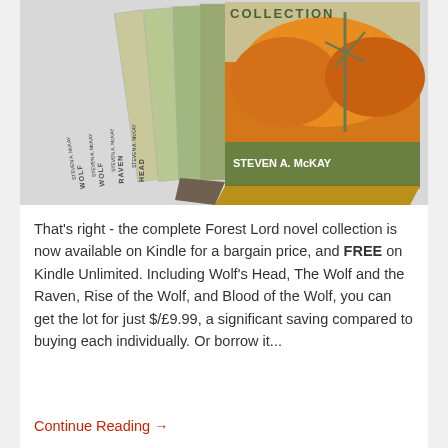[Figure (photo): 3D box set of Forest Lord novel collection by Steven A. McKay, showing multiple book spines and front cover with autumn tree and wind turbine imagery]
That's right - the complete Forest Lord novel collection is now available on Kindle for a bargain price, and FREE on Kindle Unlimited. Including Wolf's Head, The Wolf and the Raven, Rise of the Wolf, and Blood of the Wolf, you can get the lot for just $/£9.99, a significant saving compared to buying each individually. Or borrow it...
Continue Reading →